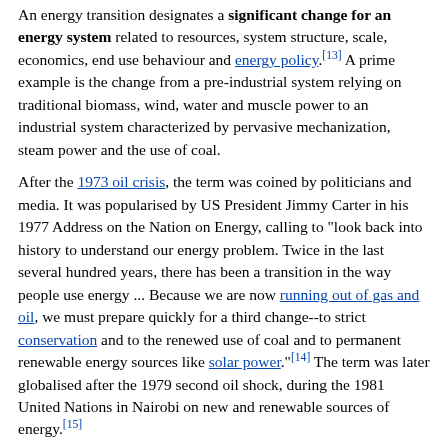An energy transition designates a significant change for an energy system related to resources, system structure, scale, economics, end use behaviour and energy policy.[13] A prime example is the change from a pre-industrial system relying on traditional biomass, wind, water and muscle power to an industrial system characterized by pervasive mechanization, steam power and the use of coal.
After the 1973 oil crisis, the term was coined by politicians and media. It was popularised by US President Jimmy Carter in his 1977 Address on the Nation on Energy, calling to "look back into history to understand our energy problem. Twice in the last several hundred years, there has been a transition in the way people use energy ... Because we are now running out of gas and oil, we must prepare quickly for a third change--to strict conservation and to the renewed use of coal and to permanent renewable energy sources like solar power."[14] The term was later globalised after the 1979 second oil shock, during the 1981 United Nations in Nairobi on new and renewable sources of energy.[15]
From the 1990s, debates on energy transition have increasingly taken climate change mitigation into account. Since the adoption of the COP21 Paris Agreement in 2015, all 196 participating parties have agreed to reach carbon neutrality by mid-century. Parties to the agreement committed "to limit global warming to "well below